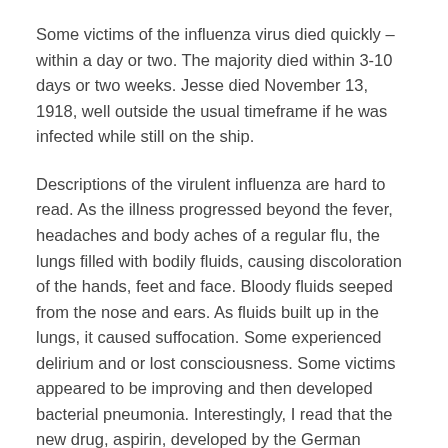Some victims of the influenza virus died quickly – within a day or two. The majority died within 3-10 days or two weeks. Jesse died November 13, 1918, well outside the usual timeframe if he was infected while still on the ship.
Descriptions of the virulent influenza are hard to read. As the illness progressed beyond the fever, headaches and body aches of a regular flu, the lungs filled with bodily fluids, causing discoloration of the hands, feet and face. Bloody fluids seeped from the nose and ears. As fluids built up in the lungs, it caused suffocation. Some experienced delirium and or lost consciousness. Some victims appeared to be improving and then developed bacterial pneumonia. Interestingly, I read that the new drug, aspirin, developed by the German company Bayer, was probably over-prescribed, and that it is now believed that many of the October deaths were caused or hastened by aspirin poisoning.
I don't know where Jesse may have been hospitalized. There were several camp and base hospitals near Brest. Most were opening or adding space around the time of Jesse's arrival in